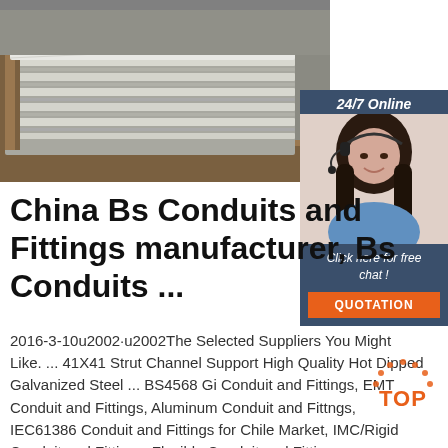[Figure (photo): Photo of stacked aluminum or galvanized steel conduit/channel products on wooden pallet]
[Figure (photo): 24/7 Online chat widget with photo of female customer service representative wearing headset, Click here for free chat link, and orange QUOTATION button]
China Bs Conduits and Fittings manufacturer, Bs Conduits ...
2016-3-10u2002·u2002The Selected Suppliers You Might Like. ... 41X41 Strut Channel Support High Quality Hot Dipped Galvanized Steel ... BS4568 Gi Conduit and Fittings, EMT Conduit and Fittings, Aluminum Conduit and Fittngs, IEC61386 Conduit and Fittings for Chile Market, IMC/Rigid Conduit and Fittings, Flexible Conduit and Fittings
[Figure (logo): Orange TOP icon in bottom right corner]